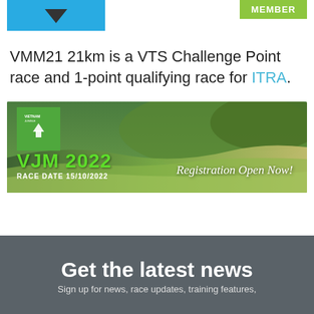[Figure (logo): Blue rectangle logo with downward-pointing chevron/arrow mark (VTS or VMM logo)]
[Figure (logo): Green rectangle with text MEMBER in white bold capitals]
VMM21 21km is a VTS Challenge Point race and 1-point qualifying race for ITRA.
[Figure (photo): Banner image for VJM 2022 showing aerial view of green terraced rice fields and mountain trail. Overlay shows green diamond logo with runner, text VJM 2022, RACE DATE 15/10/2022, and Registration Open Now!]
Get the latest news
Sign up for news, race updates, training features,